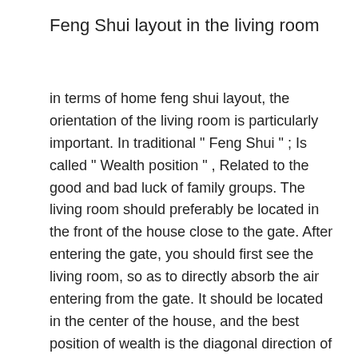Feng Shui layout in the living room
in terms of home feng shui layout, the orientation of the living room is particularly important. In traditional " Feng Shui " ; Is called " Wealth position " , Related to the good and bad luck of family groups. The living room should preferably be located in the front of the house close to the gate. After entering the gate, you should first see the living room, so as to directly absorb the air entering from the gate. It should be located in the center of the house, and the best position of wealth is the diagonal direction of the door. According to the Feng Shui layout, it is better to use square or rectangle in the living room. The seat area cannot rush to the corner of the house, and the sofa cannot press the beam. The number of sofa sets in the living room cannot be repeated. The most taboo is one